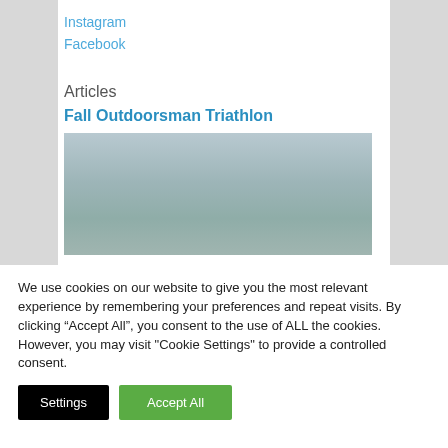Instagram
Facebook
Articles
Fall Outdoorsman Triathlon
[Figure (photo): Muted gray-blue landscape photo, likely water or sky, used as article thumbnail for Fall Outdoorsman Triathlon.]
We use cookies on our website to give you the most relevant experience by remembering your preferences and repeat visits. By clicking “Accept All”, you consent to the use of ALL the cookies. However, you may visit "Cookie Settings" to provide a controlled consent.
Settings
Accept All